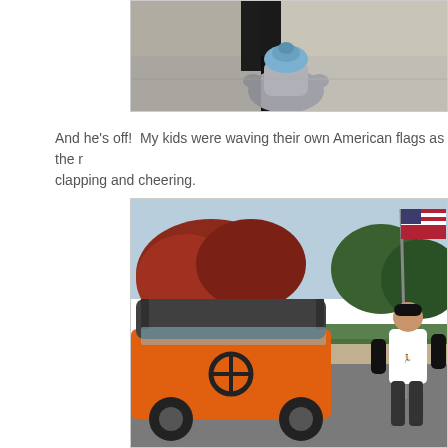[Figure (photo): Close-up of a fire hydrant (blue top, silver body) on a sidewalk with grass and pavement visible in the background, with a person's legs/boots visible behind it.]
And he's off!  My kids were waving their own American flags as the r... clapping and cheering.
[Figure (photo): A man in a white t-shirt and black hat running while carrying an American flag on a pole. An orange golf cart is in the foreground. Red and green autumn trees and a hedge are visible in the background.]